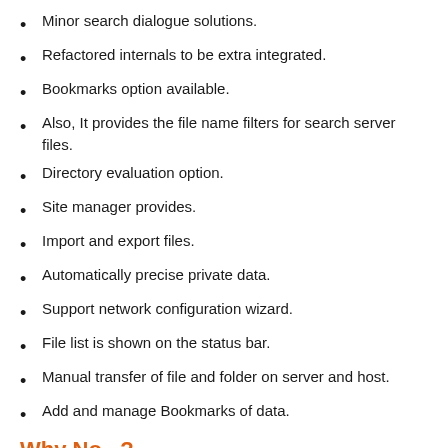Minor search dialogue solutions.
Refactored internals to be extra integrated.
Bookmarks option available.
Also, It provides the file name filters for search server files.
Directory evaluation option.
Site manager provides.
Import and export files.
Automatically precise private data.
Support network configuration wizard.
File list is shown on the status bar.
Manual transfer of file and folder on server and host.
Add and manage Bookmarks of data.
Why No...?